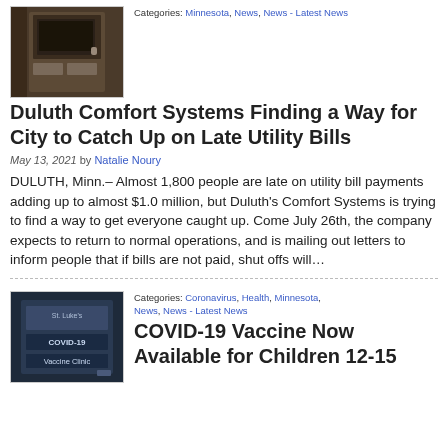[Figure (photo): Thumbnail photo of a door or utility panel, dark brown tones]
Categories: Minnesota, News, News - Latest News
Duluth Comfort Systems Finding a Way for City to Catch Up on Late Utility Bills
May 13, 2021 by Natalie Noury
DULUTH, Minn.– Almost 1,800 people are late on utility bill payments adding up to almost $1.0 million, but Duluth's Comfort Systems is trying to find a way to get everyone caught up. Come July 26th, the company expects to return to normal operations, and is mailing out letters to inform people that if bills are not paid, shut offs will…
[Figure (photo): Thumbnail photo of a COVID-19 Vaccine Clinic sign from St. Luke's]
Categories: Coronavirus, Health, Minnesota, News, News - Latest News
COVID-19 Vaccine Now Available for Children 12-15